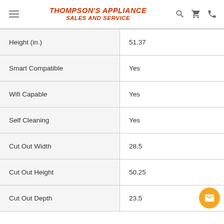Thompson's Appliance Sales and Service
| Specification | Value |
| --- | --- |
| Height (in.) | 51.37 |
| Smart Compatible | Yes |
| Wifi Capable | Yes |
| Self Cleaning | Yes |
| Cut Out Width | 28.5 |
| Cut Out Height | 50.25 |
| Cut Out Depth | 23.5 |